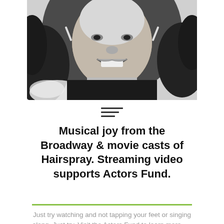[Figure (photo): Black and white close-up photo of a smiling woman with curly hair, drop earrings, and a feathered garment, cropped to show face and upper chest]
Musical joy from the Broadway & movie casts of Hairspray. Streaming video supports Actors Fund.
Just try watching and not tapping your feet or singing along. Just try. Visit the Actors Fund to learn more. …